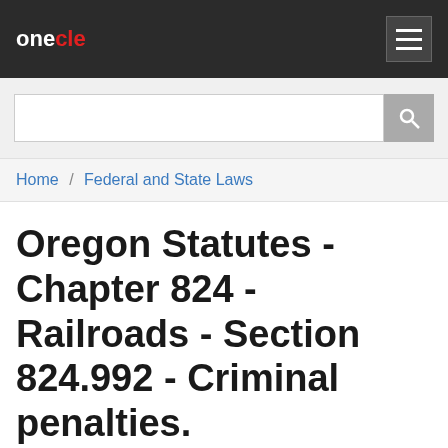onecle
[Figure (screenshot): Search input box with search button]
Home / Federal and State Laws
Oregon Statutes - Chapter 824 - Railroads - Section 824.992 - Criminal penalties.